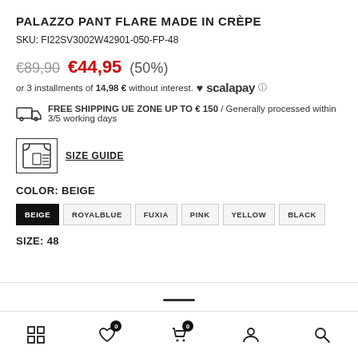PALAZZO PANT FLARE MADE IN CRÈPE
SKU: FI22SV3002W42901-050-FP-48
€89,90  €44,95 (50%)
or 3 installments of 14,98 € without interest. ♥ scalapay ⓘ
FREE SHIPPING UE ZONE UP TO € 150 / Generally processed within 3/5 working days
[Figure (illustration): Size guide icon with ruler and shirt]
SIZE GUIDE
COLOR: BEIGE
BEIGE  ROYALBLUE  FUXIA  PINK  YELLOW  BLACK
SIZE: 48
Navigation bar with grid, wishlist (0), cart (0), account, search icons